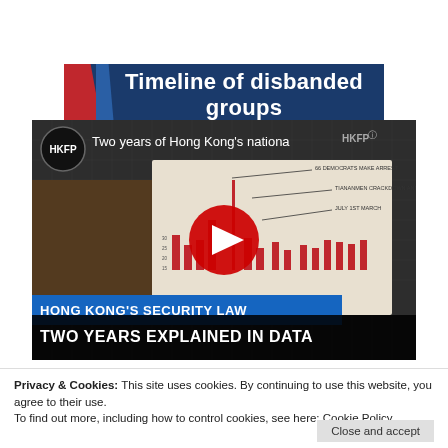Timeline of disbanded groups
[Figure (screenshot): YouTube video thumbnail showing HKFP video titled 'Two years of Hong Kong's national security law — Two years explained in data', with bar chart visible, red play button, blue lower-third saying HONG KONG'S SECURITY LAW, black bar saying TWO YEARS EXPLAINED IN DATA]
Privacy & Cookies: This site uses cookies. By continuing to use this website, you agree to their use.
To find out more, including how to control cookies, see here: Cookie Policy
Close and accept